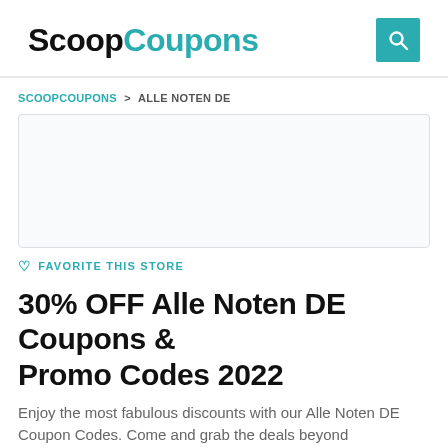ScoopCoupons
SCOOPCOUPONS > ALLE NOTEN DE
[Figure (other): Store logo/image placeholder box with light gray background and border]
♡ FAVORITE THIS STORE
30% OFF Alle Noten DE Coupons & Promo Codes 2022
Enjoy the most fabulous discounts with our Alle Noten DE Coupon Codes. Come and grab the deals beyond